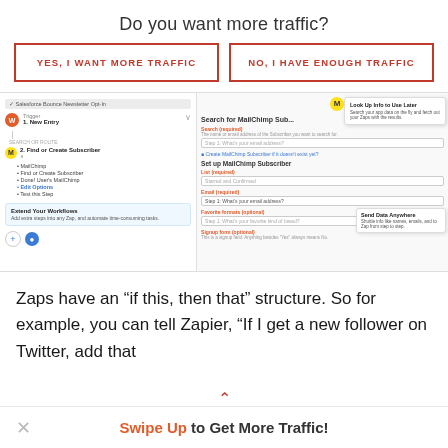Do you want more traffic?
YES, I WANT MORE TRAFFIC
NO, I HAVE ENOUGH TRAFFIC
[Figure (screenshot): Screenshot of Zapier workflow interface showing MailChimp subscriber setup with tooltips 'Look Up Info to Use Later' and 'Send Data Anywhere', and an 'Extend Your Workflows' panel on the left.]
Zaps have an “if this, then that” structure. So for example, you can tell Zapier, “If I get a new follower on Twitter, add that
Swipe Up to Get More Traffic!